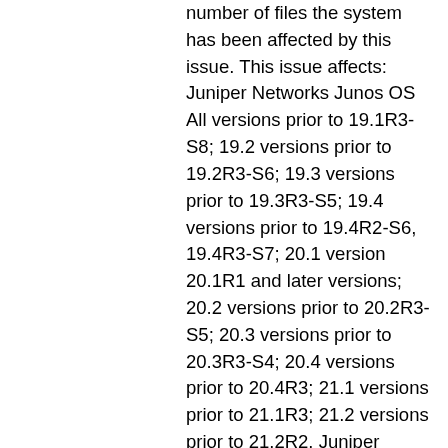number of files the system has been affected by this issue. This issue affects: Juniper Networks Junos OS All versions prior to 19.1R3-S8; 19.2 versions prior to 19.2R3-S6; 19.3 versions prior to 19.3R3-S5; 19.4 versions prior to 19.4R2-S6, 19.4R3-S7; 20.1 version 20.1R1 and later versions; 20.2 versions prior to 20.2R3-S5; 20.3 versions prior to 20.3R3-S4; 20.4 versions prior to 20.4R3; 21.1 versions prior to 21.1R3; 21.2 versions prior to 21.2R2. Juniper Networks Junos OS Evolved All versions prior to